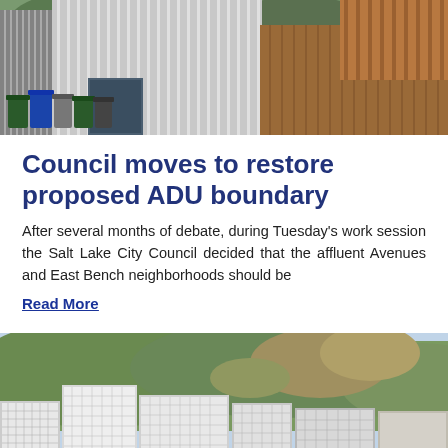[Figure (photo): Photograph of an ADU (accessory dwelling unit) — a modern gray metal-sided garage/building next to a wooden fence, with green, blue, and gray trash bins in the foreground.]
Council moves to restore proposed ADU boundary
After several months of debate, during Tuesday's work session the Salt Lake City Council decided that the affluent Avenues and East Bench neighborhoods should be
Read More
[Figure (photo): Photograph of Salt Lake City skyline with high-rise apartment buildings in the foreground and green mountains (Wasatch Front) in the background.]